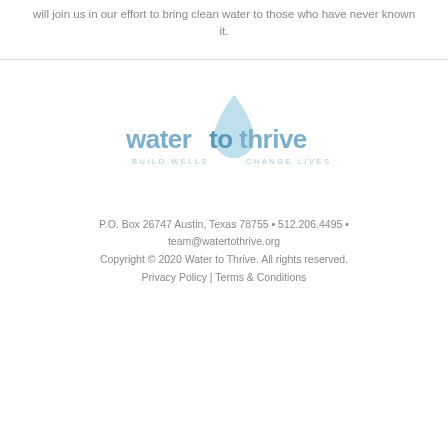will join us in our effort to bring clean water to those who have never known it.
[Figure (logo): Water to Thrive logo — water droplet icon above text 'water to thrive' with tagline 'BUILD WELLS CHANGE LIVES']
P.O. Box 26747 Austin, Texas 78755 • 512.206.4495 • team@watertothrive.org
Copyright © 2020 Water to Thrive. All rights reserved.
Privacy Policy | Terms & Conditions